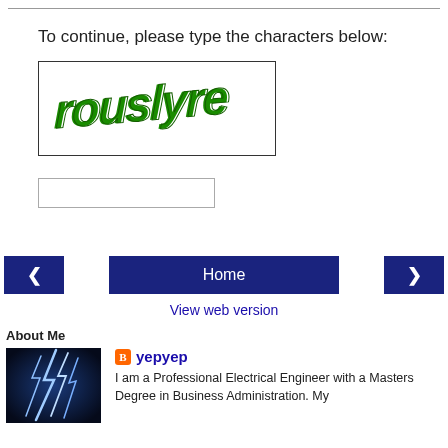To continue, please type the characters below:
[Figure (screenshot): CAPTCHA image showing green stylized text 'rouslyre' on white background inside a bordered box]
[Figure (screenshot): Empty text input field for CAPTCHA entry]
[Figure (screenshot): Navigation bar with left arrow button, Home button, and right arrow button]
View web version
About Me
[Figure (photo): Photo showing blue lightning bolts against dark blue background]
yepyep
I am a Professional Electrical Engineer with a Masters Degree in Business Administration. My